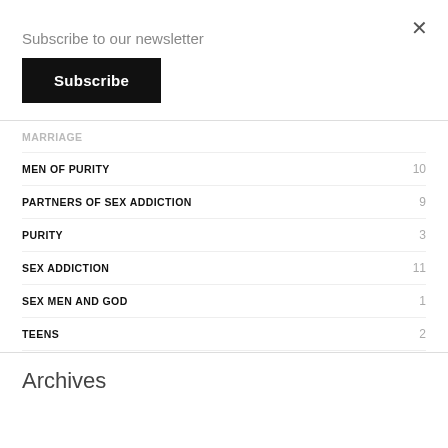Subscribe to our newsletter
Subscribe
MARRIAGE — (truncated)
MEN OF PURITY  10
PARTNERS OF SEX ADDICTION  9
PURITY  3
SEX ADDICTION  11
SEX MEN AND GOD  1
TEENS  2
Archives